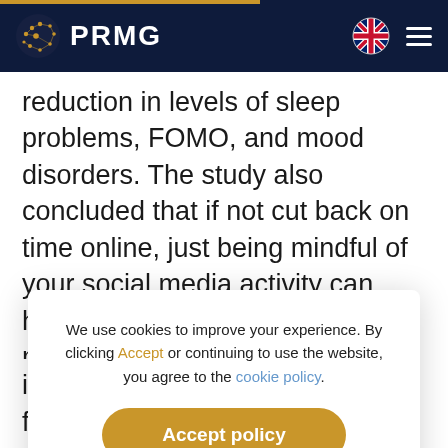PRMG
reduction in levels of sleep problems, FOMO, and mood disorders. The study also concluded that if not cut back on time online, just being mindful of your social media activity can have favourable results on your mood and focus.
We use cookies to improve your experience. By clicking Accept or continuing to use the website, you agree to the cookie policy.
Accept policy
interactions with friends and family can help